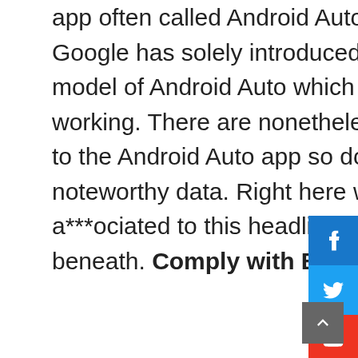app often called Android Auto. Nonetheless, the tech big Google has solely introduced to close down solely the cell model of Android Auto which implies the OS model will stay working. There are nonetheless numerous queries a***ociated to the Android Auto app so don't skip any part to get all of the noteworthy data. Right here we've mentioned loads of factors a***ociated to this headline. Shift down and take a look beneath. Comply with Extra Replace On Phoosi.com